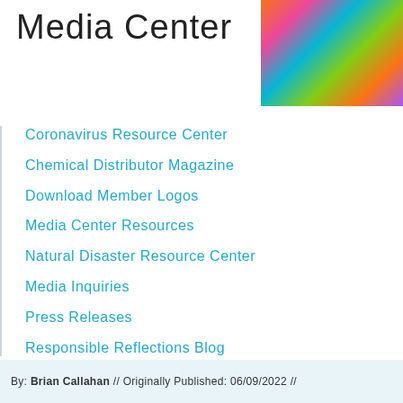Media Center
[Figure (photo): Colorful abstract image with orange, pink, teal, green swirling colors in top right corner]
Coronavirus Resource Center
Chemical Distributor Magazine
Download Member Logos
Media Center Resources
Natural Disaster Resource Center
Media Inquiries
Press Releases
Responsible Reflections Blog
By: Brian Callahan // Originally Published: 06/09/2022 //